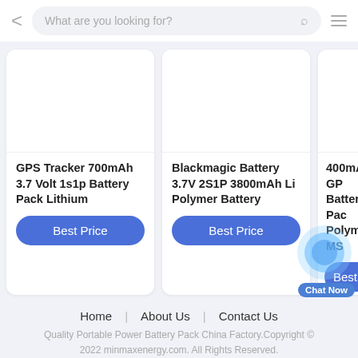What are you looking for?
[Figure (screenshot): Product card: GPS Tracker 700mAh 3.7 Volt 1s1p Battery Pack Lithium]
GPS Tracker 700mAh 3.7 Volt 1s1p Battery Pack Lithium
Best Price
[Figure (screenshot): Product card: Blackmagic Battery 3.7V 2S1P 3800mAh Li Polymer Battery]
Blackmagic Battery 3.7V 2S1P 3800mAh Li Polymer Battery
Best Price
[Figure (screenshot): Partial product card: 400mAh GPS Battery Pack Polymer MS]
400mAh GPS Battery Pack Polymer MS
Best P
Home | About Us | Contact Us
Quality Portable Power Battery Pack China Factory.Copyright © 2022 minmaxenergy.com. All Rights Reserved.